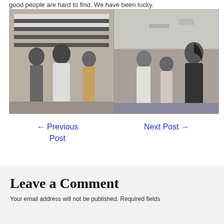good people are hard to find. We have been lucky.
[Figure (photo): Two black-and-white photographs side by side. Left photo shows three people standing in front of a striped building. Right photo shows three women, one in a white sari and one in a dark sari, standing near a waterfront.]
← Previous Post
Next Post →
Leave a Comment
Your email address will not be published. Required fields